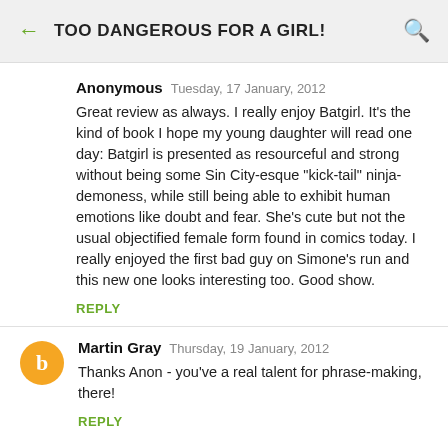TOO DANGEROUS FOR A GIRL!
Anonymous   Tuesday, 17 January, 2012

Great review as always. I really enjoy Batgirl. It's the kind of book I hope my young daughter will read one day: Batgirl is presented as resourceful and strong without being some Sin City-esque "kick-tail" ninja-demoness, while still being able to exhibit human emotions like doubt and fear. She's cute but not the usual objectified female form found in comics today. I really enjoyed the first bad guy on Simone's run and this new one looks interesting too. Good show.
REPLY
Martin Gray   Thursday, 19 January, 2012

Thanks Anon - you've a real talent for phrase-making, there!
REPLY